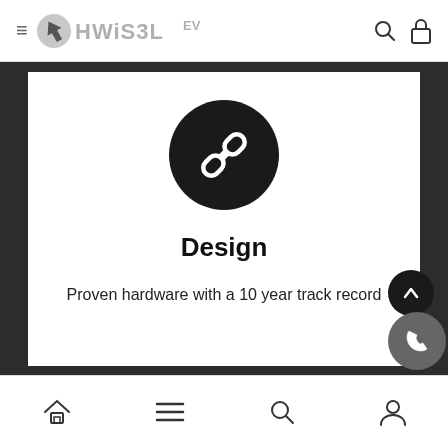HWISEL EV
[Figure (logo): HWISEL EV brand logo with chain-link icon circle, Design section header and description text]
Design
Proven hardware with a 10 year track record
Home | Menu | Search | Account